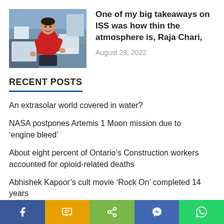[Figure (photo): Photo of an astronaut in a red shirt floating inside the International Space Station]
One of my big takeaways on ISS was how thin the atmosphere is, Raja Chari,
August 28, 2022
RECENT POSTS
An extrasolar world covered in water?
NASA postpones Artemis 1 Moon mission due to ‘engine bleed’
About eight percent of Ontario’s Construction workers accounted for opioid-related deaths
Abhishek Kapoor’s cult movie ‘Rock On’ completed 14 years